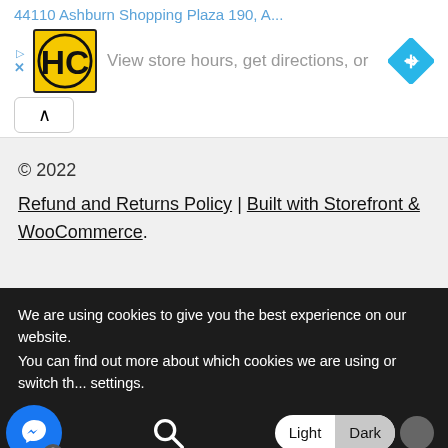44110 Ashburn Shopping Plaza 190, A...
[Figure (logo): HC logo - yellow square with black H and C letters]
View store hours, get directions, or
[Figure (illustration): Blue diamond direction/navigation icon]
© 2022
Refund and Returns Policy | Built with Storefront & WooCommerce.
We are using cookies to give you the best experience on our website.
You can find out more about which cookies we are using or switch th... settings.
[Figure (illustration): Facebook Messenger circular blue button with person icon]
[Figure (illustration): Search magnifying glass icon]
Light
Dark